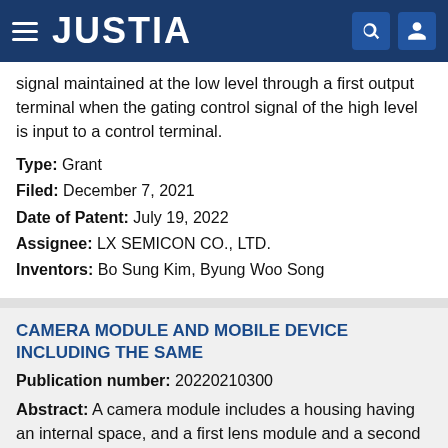JUSTIA
signal maintained at the low level through a first output terminal when the gating control signal of the high level is input to a control terminal.
Type: Grant
Filed: December 7, 2021
Date of Patent: July 19, 2022
Assignee: LX SEMICON CO., LTD.
Inventors: Bo Sung Kim, Byung Woo Song
CAMERA MODULE AND MOBILE DEVICE INCLUDING THE SAME
Publication number: 20220210300
Abstract: A camera module includes a housing having an internal space, and a first lens module and a second lens module disposed in the internal space and each configured to be movable in an optical axis direction, wherein a first shaft and a first ball member are